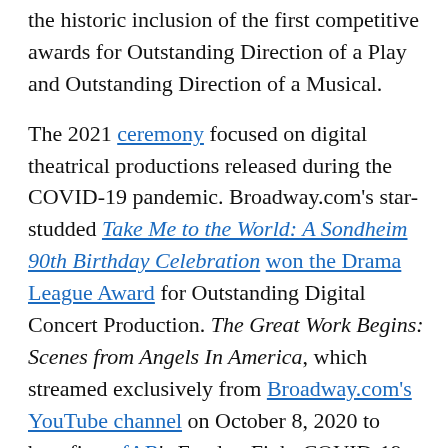the historic inclusion of the first competitive awards for Outstanding Direction of a Play and Outstanding Direction of a Musical.
The 2021 ceremony focused on digital theatrical productions released during the COVID-19 pandemic. Broadway.com's star-studded Take Me to the World: A Sondheim 90th Birthday Celebration won the Drama League Award for Outstanding Digital Concert Production. The Great Work Begins: Scenes from Angels In America, which streamed exclusively from Broadway.com's YouTube channel on October 8, 2020 to benefit amfAR's Fund to Fight COVID-19, won the award for Outstanding Digital Theater, Individual Production.
Moulin Rouge! The Musical Tony winner Danny Burstein was named the most recent winner of the Drama League's Distinguished Performance Award on